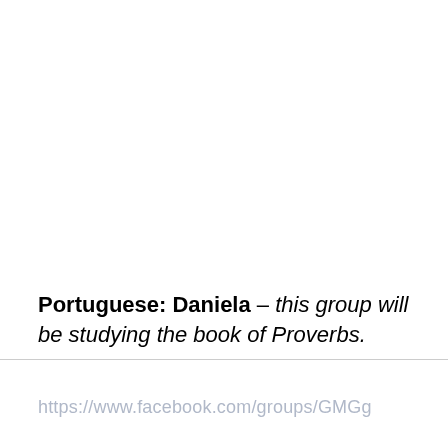Portuguese: Daniela – this group will be studying the book of Proverbs.
https://www.facebook.com/groups/GMGg